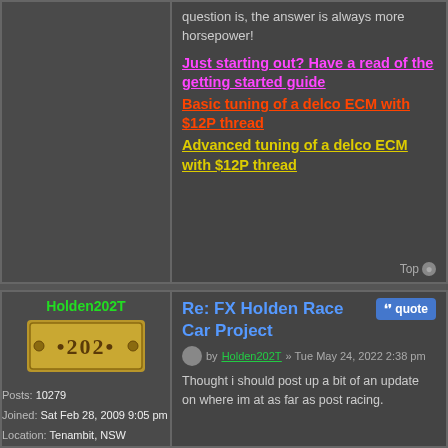question is, the answer is always more horsepower!
Just starting out? Have a read of the getting started guide
Basic tuning of a delco ECM with $12P thread
Advanced tuning of a delco ECM with $12P thread
Top
Holden202T
[Figure (other): Badge image with '202' text on gold background]
Posts: 10279
Joined: Sat Feb 28, 2009 9:05 pm
Location: Tenambit, NSW
Re: FX Holden Race Car Project
by Holden202T » Tue May 24, 2022 2:38 pm
Thought i should post up a bit of an update on where im at as far as post racing.